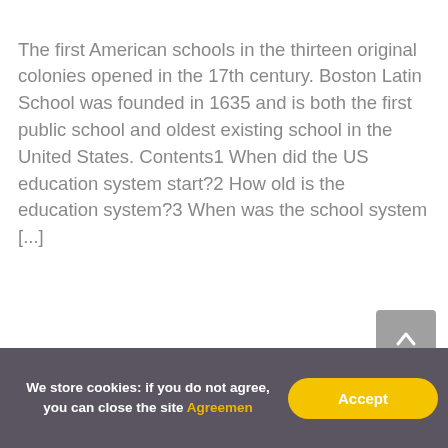The first American schools in the thirteen original colonies opened in the 17th century. Boston Latin School was founded in 1635 and is both the first public school and oldest existing school in the United States. Contents1 When did the US education system start?2 How old is the education system?3 When was the school system [...]
We store cookies: if you do not agree, you can close the site Agreemen   Accept